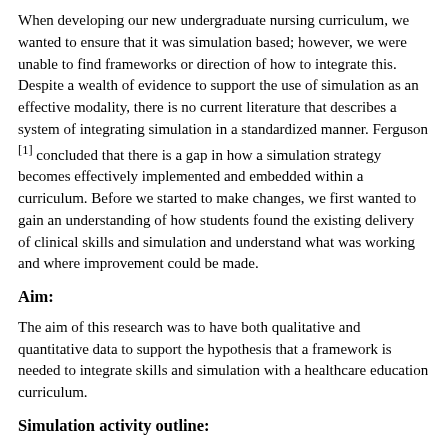When developing our new undergraduate nursing curriculum, we wanted to ensure that it was simulation based; however, we were unable to find frameworks or direction of how to integrate this. Despite a wealth of evidence to support the use of simulation as an effective modality, there is no current literature that describes a system of integrating simulation in a standardized manner. Ferguson [1] concluded that there is a gap in how a simulation strategy becomes effectively implemented and embedded within a curriculum. Before we started to make changes, we first wanted to gain an understanding of how students found the existing delivery of clinical skills and simulation and understand what was working and where improvement could be made.
Aim:
The aim of this research was to have both qualitative and quantitative data to support the hypothesis that a framework is needed to integrate skills and simulation with a healthcare education curriculum.
Simulation activity outline:
For this study, there was no new addition of simulation; the aim was to look at what was in existence and gather student experience